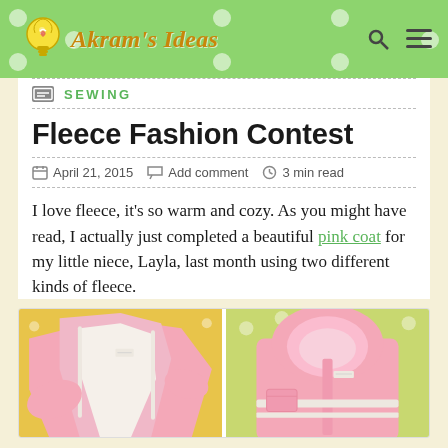Akram's Ideas
SEWING
Fleece Fashion Contest
April 21, 2015  Add comment  3 min read
I love fleece, it's so warm and cozy. As you might have read, I actually just completed a beautiful pink coat for my little niece, Layla, last month using two different kinds of fleece.
[Figure (photo): Two photos of a pink fleece coat for a child — left photo shows coat laid open displaying lining, right photo shows the coat from outside with hood visible.]